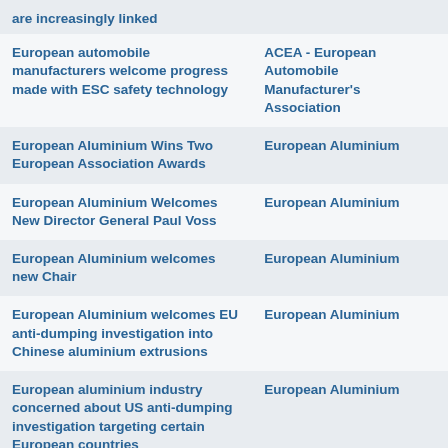| Title | Source |
| --- | --- |
| are increasingly linked |  |
| European automobile manufacturers welcome progress made with ESC safety technology | ACEA - European Automobile Manufacturer's Association |
| European Aluminium Wins Two European Association Awards | European Aluminium |
| European Aluminium Welcomes New Director General Paul Voss | European Aluminium |
| European Aluminium welcomes new Chair | European Aluminium |
| European Aluminium welcomes EU anti-dumping investigation into Chinese aluminium extrusions | European Aluminium |
| European aluminium industry concerned about US anti-dumping investigation targeting certain European countries | European Aluminium |